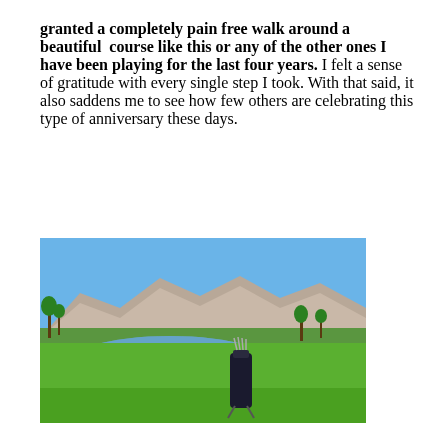granted a completely pain free walk around a beautiful course like this or any of the other ones I have been playing for the last four years. I felt a sense of gratitude with every single step I took. With that said, it also saddens me to see how few others are celebrating this type of anniversary these days.
[Figure (photo): Golf course scene with a golf bag standing on green grass beside a water hazard/pond, with mountains and palm trees in the background under a clear blue sky.]
I also realize that writing a travel blog about chronic pain and mind body medicine may not be right up the alley of a typical reader of this blog. But if even one person reads this, and it